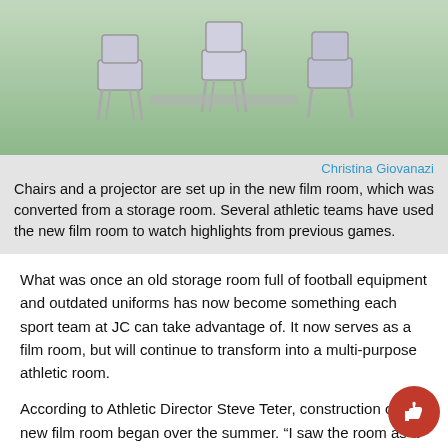[Figure (photo): Photo of chairs and a projector set up in a new film room with a green floor, shot from above]
Christina Giovanazi
Chairs and a projector are set up in the new film room, which was converted from a storage room. Several athletic teams have used the new film room to watch highlights from previous games.
What was once an old storage room full of football equipment and outdated uniforms has now become something each sport team at JC can take advantage of. It now serves as a film room, but will continue to transform into a multi-purpose athletic room.
According to Athletic Director Steve Teter, construction on the new film room began over the summer. “I saw the room as a prim and thought, ‘what could we do with this?’” Teter said. The ro used be a large storage space for old equipment and uniforms, but Teter decided that a change was needed. By moving all of th equipment into a converted storage space in the men’s locker